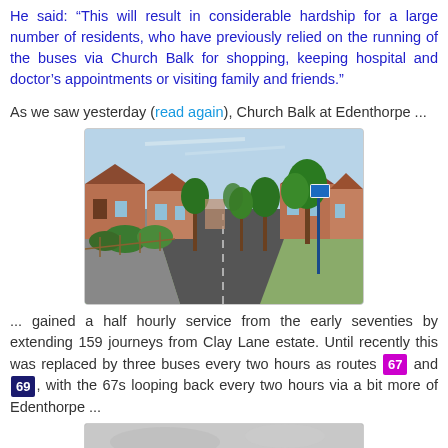He said: “This will result in considerable hardship for a large number of residents, who have previously relied on the running of the buses via Church Balk for shopping, keeping hospital and doctor’s appointments or visiting family and friends.”
As we saw yesterday (read again), Church Balk at Edenthorpe ...
[Figure (photo): Street view photo of Church Balk, Edenthorpe — a residential road lined with houses and trees on a sunny day, with a bus stop pole visible on the right side.]
... gained a half hourly service from the early seventies by extending 159 journeys from Clay Lane estate. Until recently this was replaced by three buses every two hours as routes 67 and 69, with the 67s looping back every two hours via a bit more of Edenthorpe ...
[Figure (photo): Partial street or sky photo at bottom of page, mostly grey tones, cut off.]